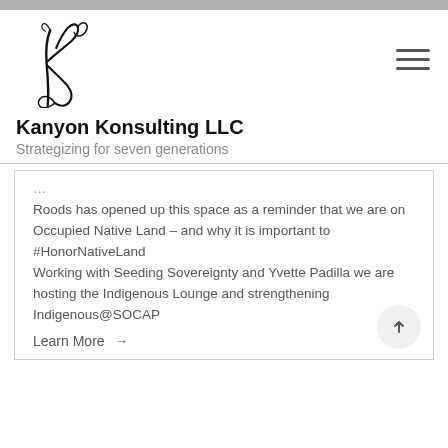[Figure (logo): Kanyon Konsulting LLC logo with stylized 'k' letterform and company name]
Kanyon Konsulting LLC
Strategizing for seven generations
Roods has opened up this space as a reminder that we are on Occupied Native Land – and why it is important to #HonorNativeLand Working with Seeding Sovereignty and Yvette Padilla we are hosting the Indigenous Lounge and strengthening Indigenous@SOCAP
Learn More →